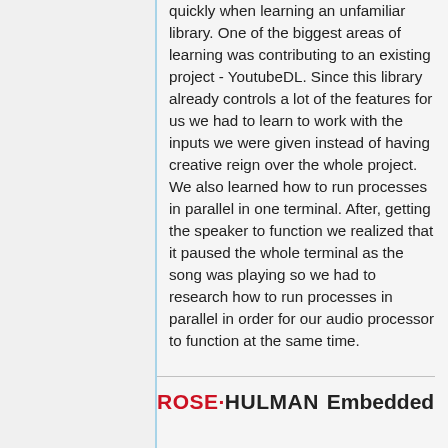quickly when learning an unfamiliar library. One of the biggest areas of learning was contributing to an existing project - YoutubeDL. Since this library already controls a lot of the features for us we had to learn to work with the inputs we were given instead of having creative reign over the whole project. We also learned how to run processes in parallel in one terminal. After, getting the speaker to function we realized that it paused the whole terminal as the song was playing so we had to research how to run processes in parallel in order for our audio processor to function at the same time.
ROSE-HULMAN Embedded